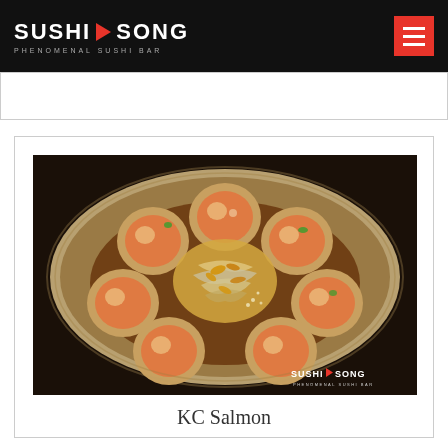SUSHI SONG — PHENOMENAL SUSHI BAR
[Figure (photo): A plate of KC Salmon sushi rolls arranged in a circle on a decorative plate, topped with shredded garnish and sesame seeds, with Sushi Song watermark logo in bottom right corner.]
KC Salmon